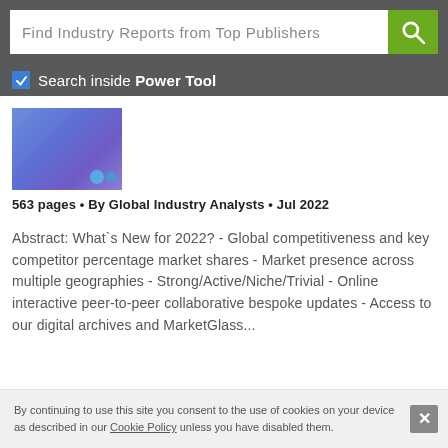[Figure (screenshot): Search bar with text 'Find Industry Reports from Top Publishers' and a green search button with magnifying glass icon]
Search inside Power Tool
[Figure (photo): Report thumbnail showing a blue/purple gradient image with two circular dots in the bottom right]
563 pages • By Global Industry Analysts • Jul 2022
Abstract: What`s New for 2022? - Global competitiveness and key competitor percentage market shares - Market presence across multiple geographies - Strong/Active/Niche/Trivial - Online interactive peer-to-peer collaborative bespoke updates - Access to our digital archives and MarketGlass...
By continuing to use this site you consent to the use of cookies on your device as described in our Cookie Policy unless you have disabled them.